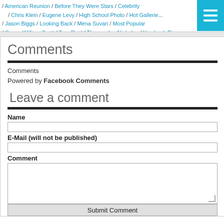/ American Reunion / Before They Were Stars / Celebrity / Chris Klein / Eugene Levy / High School Photo / Hot Galleries / Jason Biggs / Looking Back / Mena Suvari / Most Popular / Seann William Scott / Tara Reid / Thomas Ian Nicholas / Yearbook Pic
Comments
Comments
Powered by Facebook Comments
Leave a comment
Name
E-Mail (will not be published)
Comment
Submit Comment